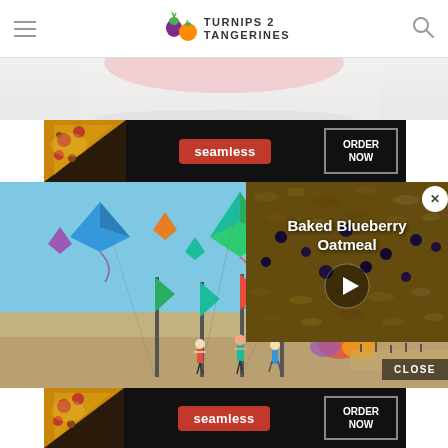Turnips 2 Tangerines — navigation header with logo, hamburger menu, and search icon
[Figure (photo): Partial view of a pink bowl on a light background]
[Figure (photo): Seamless food delivery advertisement with pizza image, Seamless logo pill and ORDER NOW button on dark background]
[Figure (photo): Beach scene with colorful kites and banners flying, people on sandy beach under blue sky]
[Figure (screenshot): Video overlay panel showing Baked Blueberry Oatmeal recipe video with play button on oatmeal texture background]
[Figure (photo): Seamless food delivery advertisement at bottom with pizza image, Seamless logo pill and ORDER NOW button on dark background]